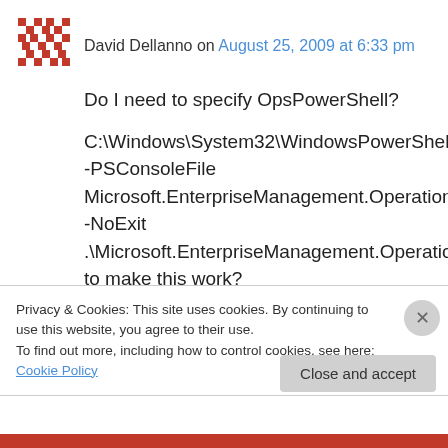David Dellanno on August 25, 2009 at 6:33 pm
Do I need to specify OpsPowerShell?

C:\Windows\System32\WindowsPowerShell\v1.0\powershell.exe -PSConsoleFile Microsoft.EnterpriseManagement.OperationsManager.ClientShell.Console.psc1 -NoExit .\Microsoft.EnterpriseManagement.OperationsManager.ClientShell.Startup.ps1 to make this work?
Privacy & Cookies: This site uses cookies. By continuing to use this website, you agree to their use.
To find out more, including how to control cookies, see here: Cookie Policy
Close and accept